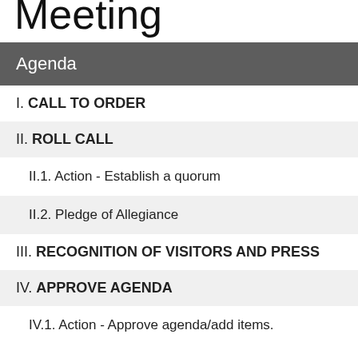Meeting
Agenda
I. CALL TO ORDER
II. ROLL CALL
II.1. Action - Establish a quorum
II.2. Pledge of Allegiance
III. RECOGNITION OF VISITORS AND PRESS
IV. APPROVE AGENDA
IV.1. Action - Approve agenda/add items.